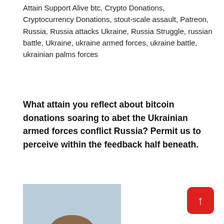Attain Support Alive btc, Crypto Donations, Cryptocurrency Donations, stout-scale assault, Patreon, Russia, Russia attacks Ukraine, Russia Struggle, russian battle, Ukraine, ukraine armed forces, ukraine battle, ukrainian palms forces
What attain you reflect about bitcoin donations soaring to abet the Ukrainian armed forces conflict Russia? Permit us to perceive within the feedback half beneath.
[Figure (photo): A young man with short brown hair wearing dark sunglasses and a dark jacket, photographed outdoors near a body of water with trees in the background.]